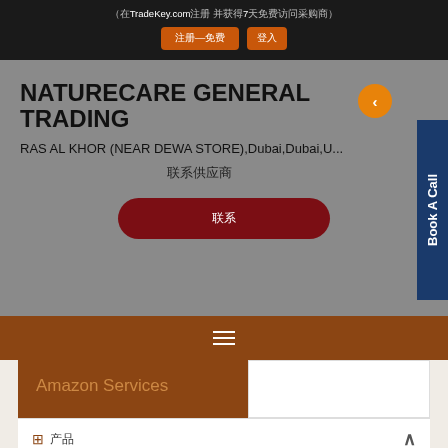（在TradeKey.com注册 并获得7天免费访问采购商
注册––免费 | 登入
NATURECARE GENERAL TRADING
RAS AL KHOR (NEAR DEWA STORE),Dubai,Dubai,UAE
联系供应商
联系
Book A Call
Amazon Services
产品